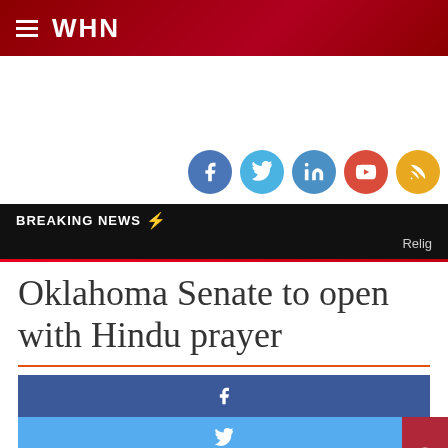WHN
[Figure (infographic): Social media icons row: Facebook (blue circle), Twitter (light blue circle), LinkedIn (blue circle), YouTube (red circle), RSS (orange/gold circle)]
BREAKING NEWS
Relig
Oklahoma Senate to open with Hindu prayer
[Figure (infographic): Social share buttons: blue Facebook share button, light blue Twitter share button, green WhatsApp share button. Red scroll-to-top button on right side.]